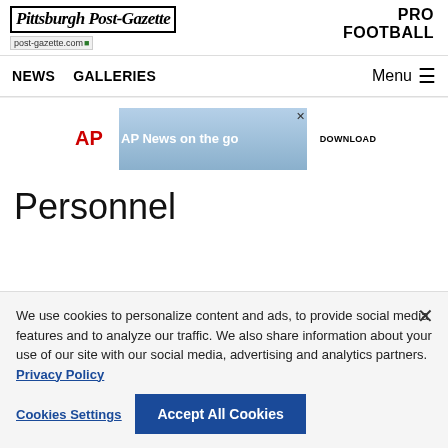Pittsburgh Post-Gazette — PRO FOOTBALL
NEWS   GALLERIES   Menu
[Figure (screenshot): AP News on the go advertisement banner with AP logo, silhouetted figures, and DOWNLOAD button]
Personnel
We use cookies to personalize content and ads, to provide social media features and to analyze our traffic. We also share information about your use of our site with our social media, advertising and analytics partners. Privacy Policy
Cookies Settings   Accept All Cookies